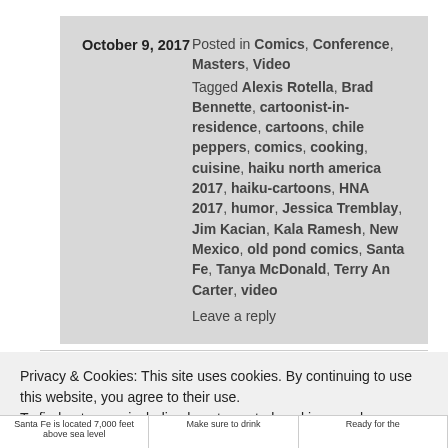October 9, 2017   Posted in Comics, Conference, Masters, Video
Tagged Alexis Rotella, Brad Bennette, cartoonist-in-residence, cartoons, chile peppers, comics, cooking, cuisine, haiku north america 2017, haiku-cartoons, HNA 2017, humor, Jessica Tremblay, Jim Kacian, Kala Ramesh, New Mexico, old pond comics, Santa Fe, Tanya McDonald, Terry An Carter, video
Leave a reply
Privacy & Cookies: This site uses cookies. By continuing to use this website, you agree to their use.
To find out more, including how to control cookies, see here: Cookie Policy
Close and accept